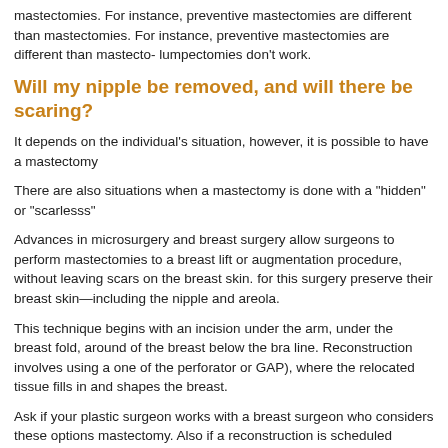mastectomies. For instance, preventive mastectomies are different than mastect... lumpectomies don't work.
Will my nipple be removed, and will there be scari...
It depends on the individual's situation, however, it is possible to have a mastecto...
There are also situations when a mastectomy is done with a "hidden" or "scarless...
Advances in microsurgery and breast surgery allow surgeons to perform mastect... to a breast lift or augmentation procedure, without leaving scars on the breast ski... for this surgery preserve their breast skin—including the nipple and areola.
This technique begins with an incision under the arm, under the breast fold, arou... of the breast below the bra line. Reconstruction involves using a one of the perfo... or GAP), where the relocated tissue fills in and shapes the breast.
Ask if your plastic surgeon works with a breast surgeon who considers these opti... mastectomy. Also if a reconstruction is scheduled immediately following mastecto... chemotherapy and/or radiation, the mastectomy may be done in a way to make t... reconstruction better.
Have more questions? Our doctors are happy to provide t...
[Figure (other): Facebook Like button widget showing 3 people like this with a Sign Up link]